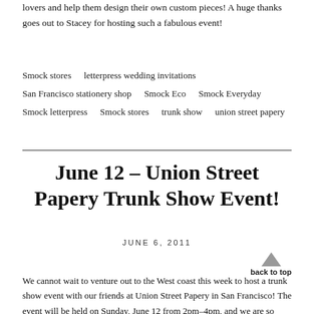lovers and help them design their own custom pieces! A huge thanks goes out to Stacey for hosting such a fabulous event!
Smock stores   letterpress wedding invitations
San Francisco stationery shop   Smock Eco   Smock Everyday
Smock letterpress   Smock stores   trunk show   union street papery
June 12 – Union Street Papery Trunk Show Event!
JUNE 6, 2011
back to top
We cannot wait to venture out to the West coast this week to host a trunk show event with our friends at Union Street Papery in San Francisco! The event will be held on Sunday, June 12 from 2pm–4pm, and we are so excited to show off all the fabulous letterpress invitation designs from the amazing new Smock wedding album.  In addition to some fantastic promotions (we're